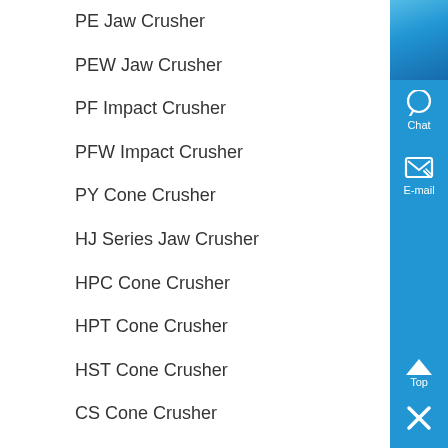PE Jaw Crusher
PEW Jaw Crusher
PF Impact Crusher
PFW Impact Crusher
PY Cone Crusher
HJ Series Jaw Crusher
HPC Cone Crusher
HPT Cone Crusher
HST Cone Crusher
CS Cone Crusher
Hammer Crusher
VSI Crusher
VSI5X Crusher